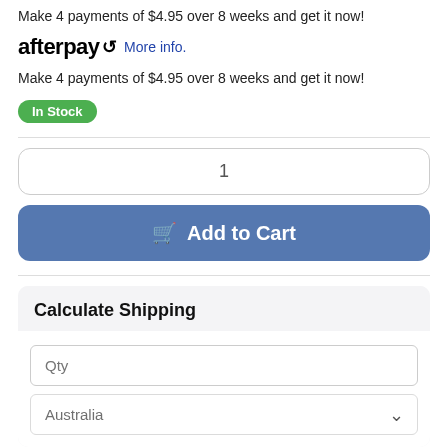Make 4 payments of $4.95 over 8 weeks and get it now!
afterpay More info.
Make 4 payments of $4.95 over 8 weeks and get it now!
In Stock
1
Add to Cart
Calculate Shipping
Qty
Australia